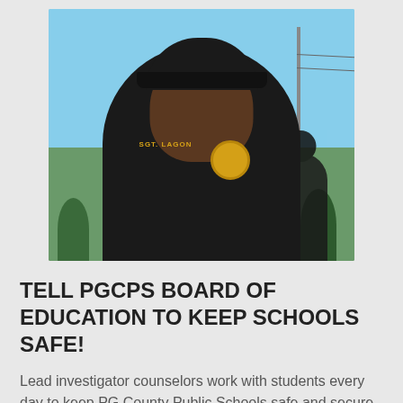[Figure (photo): A law enforcement officer (Sgt. Lagon) wearing a dark polo shirt with a gold badge, a black cap with an emblem, standing outdoors with blue sky, trees, and power lines in the background. A second person is partially visible behind him.]
TELL PGCPS BOARD OF EDUCATION TO KEEP SCHOOLS SAFE!
Lead investigator counselors work with students every day to keep PG County Public Schools safe and secure. They build relationships with and mentor students, coach